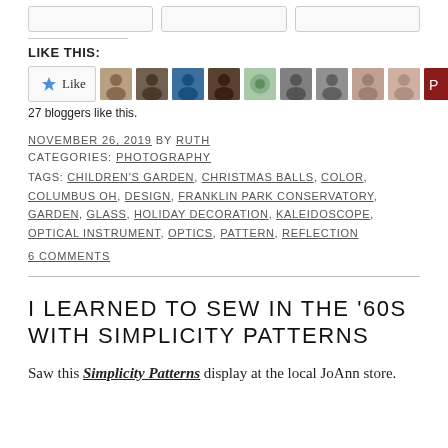[Figure (other): Like button widget with star icon and 11 blogger avatar thumbnails]
27 bloggers like this.
NOVEMBER 26, 2019 BY RUTH
CATEGORIES: PHOTOGRAPHY
TAGS: CHILDREN'S GARDEN, CHRISTMAS BALLS, COLOR, COLUMBUS OH, DESIGN, FRANKLIN PARK CONSERVATORY, GARDEN, GLASS, HOLIDAY DECORATION, KALEIDOSCOPE, OPTICAL INSTRUMENT, OPTICS, PATTERN, REFLECTION
6 COMMENTS
I LEARNED TO SEW IN THE '60S WITH SIMPLICITY PATTERNS
Saw this Simplicity Patterns display at the local JoAnn store.